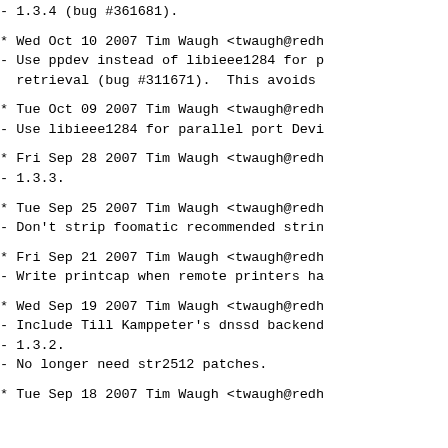- 1.3.4 (bug #361681).
* Wed Oct 10 2007 Tim Waugh <twaugh@redh
- Use ppdev instead of libieee1284 for p
  retrieval (bug #311671).  This avoids
* Tue Oct 09 2007 Tim Waugh <twaugh@redh
- Use libieee1284 for parallel port Devi
* Fri Sep 28 2007 Tim Waugh <twaugh@redh
- 1.3.3.
* Tue Sep 25 2007 Tim Waugh <twaugh@redh
- Don't strip foomatic recommended strin
* Fri Sep 21 2007 Tim Waugh <twaugh@redh
- Write printcap when remote printers ha
* Wed Sep 19 2007 Tim Waugh <twaugh@redh
- Include Till Kamppeter's dnssd backend
- 1.3.2.
- No longer need str2512 patches.
* Tue Sep 18 2007 Tim Waugh <twaugh@redh